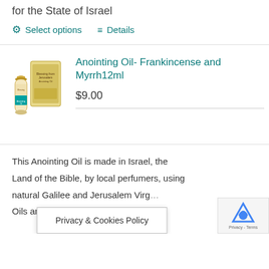for the State of Israel
Select options   Details
Anointing Oil- Frankincense and Myrrh12ml
$9.00
[Figure (photo): Small bottle of Anointing Oil - Frankincense and Myrrh with gold cap and teal label, next to its box packaging labeled 'Blessing from Jerusalem Anointing Oil']
This Anointing Oil is made in Israel, the Land of the Bible, by local perfumers, using natural Galilee and Jerusalem Virg... Oils and ...nd
Privacy & Cookies Policy